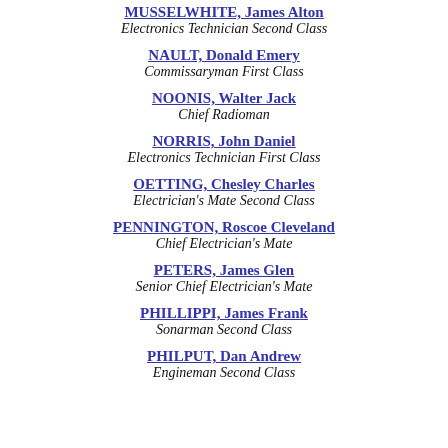MUSSELWHITE, James Alton
Electronics Technician Second Class
NAULT, Donald Emery
Commissaryman First Class
NOONIS, Walter Jack
Chief Radioman
NORRIS, John Daniel
Electronics Technician First Class
OETTING, Chesley Charles
Electrician's Mate Second Class
PENNINGTON, Roscoe Cleveland
Chief Electrician's Mate
PETERS, James Glen
Senior Chief Electrician's Mate
PHILLIPPI, James Frank
Sonarman Second Class
PHILPUT, Dan Andrew
Engineman Second Class